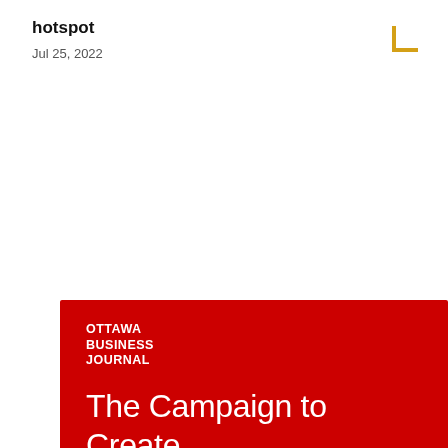hotspot
Jul 25, 2022
[Figure (illustration): Ottawa Business Journal red promotional card with white text reading 'The Campaign to Create Tomorrow' and OBJ logo, with decorative arrow at bottom right and a yellow corner bracket graphic in top right of page]